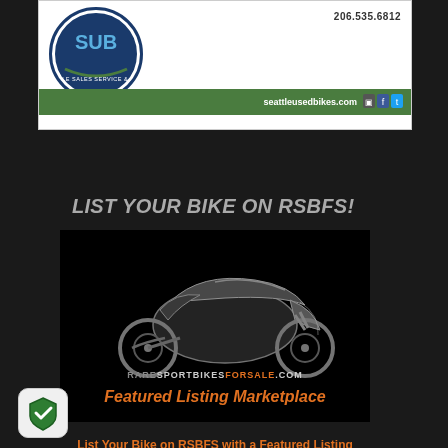[Figure (logo): Seattle Used Bikes logo with phone number 206.535.6812 and website seattleusedbikes.com on green bar]
LIST YOUR BIKE ON RSBFS!
[Figure (illustration): RARESPORTBIKESFORSALE.COM Featured Listing Marketplace banner with sport motorcycle silhouette on black background]
List Your Bike on RSBFS with a Featured Listing
[Figure (logo): Green shield security badge icon]